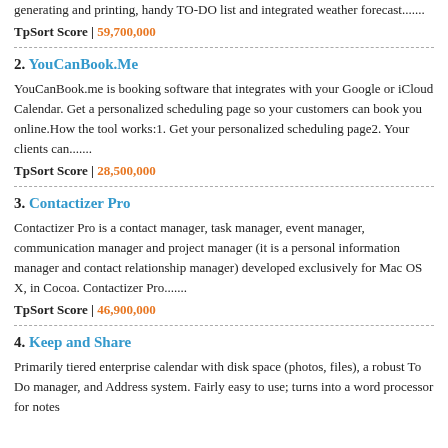generating and printing, handy TO-DO list and integrated weather forecast.......
TpSort Score | 59,700,000
2. YouCanBook.Me
YouCanBook.me is booking software that integrates with your Google or iCloud Calendar. Get a personalized scheduling page so your customers can book you online.How the tool works:1. Get your personalized scheduling page2. Your clients can.......
TpSort Score | 28,500,000
3. Contactizer Pro
Contactizer Pro is a contact manager, task manager, event manager, communication manager and project manager (it is a personal information manager and contact relationship manager) developed exclusively for Mac OS X, in Cocoa. Contactizer Pro.......
TpSort Score | 46,900,000
4. Keep and Share
Primarily tiered enterprise calendar with disk space (photos, files), a robust To Do manager, and Address system. Fairly easy to use; turns into a word processor for notes